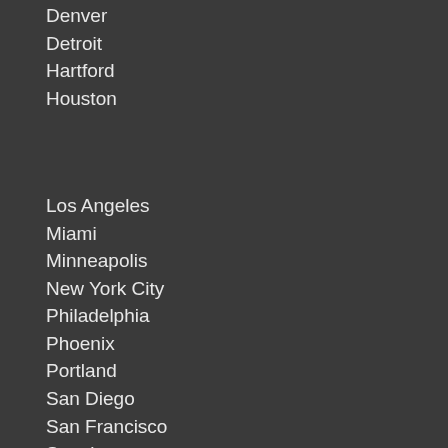Denver
Detroit
Hartford
Houston
Los Angeles
Miami
Minneapolis
New York City
Philadelphia
Phoenix
Portland
San Diego
San Francisco
Seattle